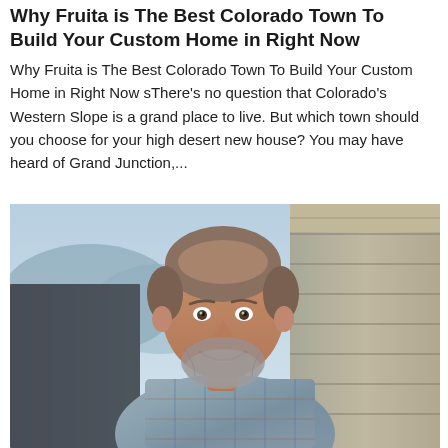Why Fruita is The Best Colorado Town To Build Your Custom Home in Right Now
Why Fruita is The Best Colorado Town To Build Your Custom Home in Right Now sThere's no question that Colorado's Western Slope is a grand place to live. But which town should you choose for your high desert new house? You may have heard of Grand Junction,...
[Figure (photo): A middle-aged man with a beard, smiling, wearing a plaid shirt, standing outdoors near wooden boards and a structure, with a mountain/sky background.]